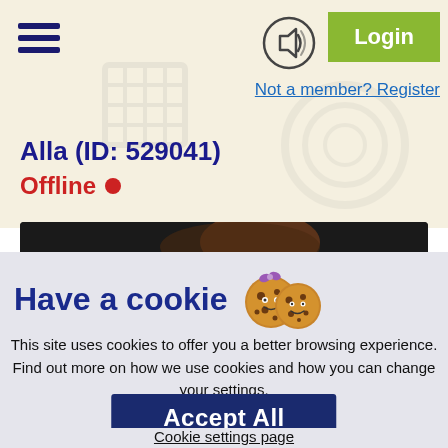[Figure (screenshot): Hamburger menu icon (three horizontal dark blue bars)]
[Figure (screenshot): Speaker/audio icon in a circle]
Login
Not a member? Register
Alla (ID: 529041)
Offline •
[Figure (photo): Dark photo strip showing a cookie or circular object on dark background]
Have a cookie
This site uses cookies to offer you a better browsing experience. Find out more on how we use cookies and how you can change your settings.
Accept All
Cookie settings page